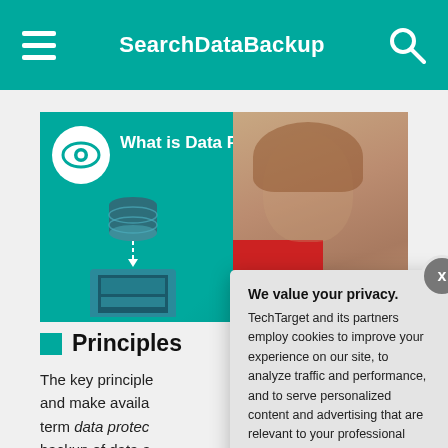SearchDataBackup
[Figure (screenshot): Video thumbnail showing 'What is Data Protection and ...' with an eye icon logo, teal background, data protection illustration on left, and a woman presenter on the right with a red block element.]
Principles
The key principles and make available term data protec backup of data a
We value your privacy. TechTarget and its partners employ cookies to improve your experience on our site, to analyze traffic and performance, and to serve personalized content and advertising that are relevant to your professional interests. You can manage your settings at any time. Please view our Privacy Policy for more information